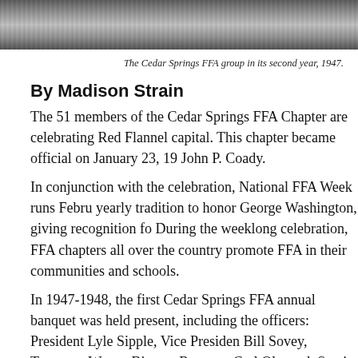[Figure (photo): Black and white photograph of the Cedar Springs FFA group in its second year, 1947. Partial top portion visible as a strip.]
The Cedar Springs FFA group in its second year, 1947.
By Madison Strain
The 51 members of the Cedar Springs FFA Chapter are celebrating Red Flannel capital. This chapter became official on January 23, 19... John P. Coady.
In conjunction with the celebration, National FFA Week runs Febru... yearly tradition to honor George Washington, giving recognition fo... During the weeklong celebration, FFA chapters all over the country promote FFA in their communities and schools.
In 1947-1948, the first Cedar Springs FFA annual banquet was held present, including the officers: President Lyle Sipple, Vice Presiden... Bill Sovey, Treasurer Wayne Bigney, Reporter Carl Olmsted, Senti... Advisor John P. Coady.
Today they continue to host an annual banquet for members, their fa... the Cedar Springs FFA, featuring a pig roast and smoked trout raise...
The 2015-2016 chapter currently has 39 high school members. This President David Schoenborn, Vice President Nathan Schoen, Secre...